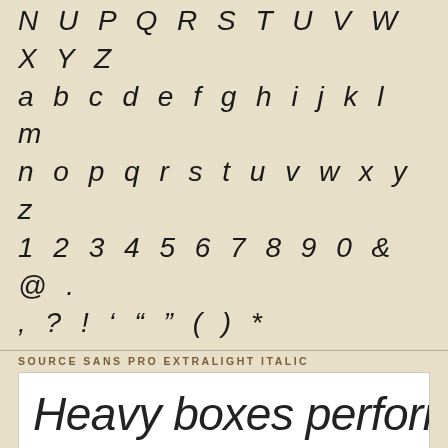N U P Q R S T U V W X Y Z
a b c d e f g h i j k l m
n o p q r s t u v w x y z
1 2 3 4 5 6 7 8 9 0 & @ .
, ? ! ' " " ( ) *
SOURCE SANS PRO EXTRALIGHT ITALIC
Heavy boxes perform quick wo
OPENTYPE
Need something else? Access over 20,000+ Commercial Fonts:
[Figure (logo): Envato Elements logo with leaf icon and Download Now button on dark red banner]